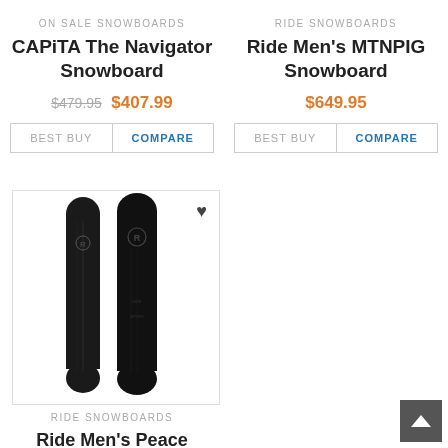ON SALE SNOWBOARDS
CAPiTA The Navigator Snowboard
$479.95  $407.99
RIDE SNOWBOARDS
Ride Men's MTNPIG Snowboard
$649.95
[Figure (photo): Two black snowboards (Ride brand) shown side by side with a heart/favorite icon in upper right corner]
RIDE SNOWBOARDS
Ride Men's Peace Seeker Snowboard